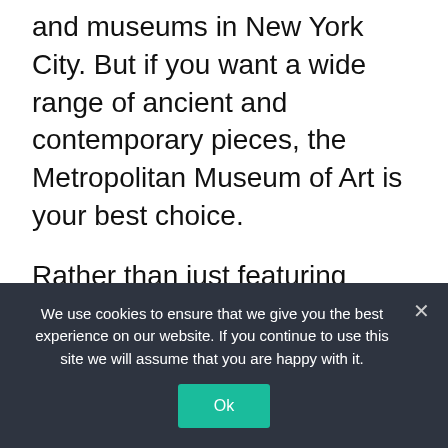and museums in New York City. But if you want a wide range of ancient and contemporary pieces, the Metropolitan Museum of Art is your best choice.
Rather than just featuring trending recent artists or artists from the 20th century, the museum has a broad art collection. You'll find anything from a Samurai Sword exhibit to an exhibit displaying a collection of baseball cards.
For those who want a gallery experience in
We use cookies to ensure that we give you the best experience on our website. If you continue to use this site we will assume that you are happy with it.